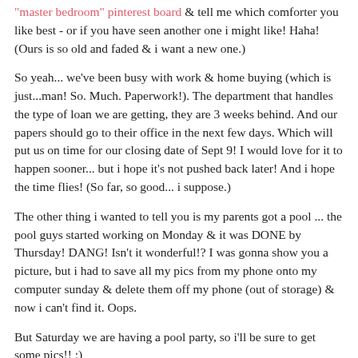"master bedroom" pinterest board & tell me which comforter you like best - or if you have seen another one i might like! Haha! (Ours is so old and faded & i want a new one.)
So yeah... we've been busy with work & home buying (which is just...man! So. Much. Paperwork!). The department that handles the type of loan we are getting, they are 3 weeks behind. And our papers should go to their office in the next few days. Which will put us on time for our closing date of Sept 9! I would love for it to happen sooner... but i hope it's not pushed back later! And i hope the time flies! (So far, so good... i suppose.)
The other thing i wanted to tell you is my parents got a pool ... the pool guys started working on Monday & it was DONE by Thursday! DANG! Isn't it wonderful!? I was gonna show you a picture, but i had to save all my pics from my phone onto my computer sunday & delete them off my phone (out of storage) & now i can't find it. Oops.
But Saturday we are having a pool party, so i'll be sure to get some pics!! :)